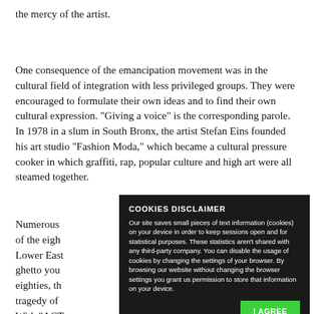the mercy of the artist.
One consequence of the emancipation movement was in the cultural field of integration with less privileged groups. They were encouraged to formulate their own ideas and to find their own cultural expression. "Giving a voice" is the corresponding parole. In 1978 in a slum in South Bronx, the artist Stefan Eins founded his art studio "Fashion Moda," which became a cultural pressure cooker in which graffiti, rap, popular culture and high art were all steamed together.
Numerous [text obscured by overlay] of the eigh[text obscured] Lower East [text obscured] ghetto you[text obscured] eighties, th[text obscured] tragedy of [text obscured] With "ACT[text obscured] cultural wo[text obscured] against the[text obscured]
COOKIES DISCLAIMER
Our site saves small pieces of text information (cookies) on your device in order to keep sessions open and for statistical purposes. These statistics aren't shared with any third-party company. You can disable the usage of cookies by changing the settings of your browser. By browsing our website without changing the browser settings you grant us permission to store that information on your device.
I AGREE